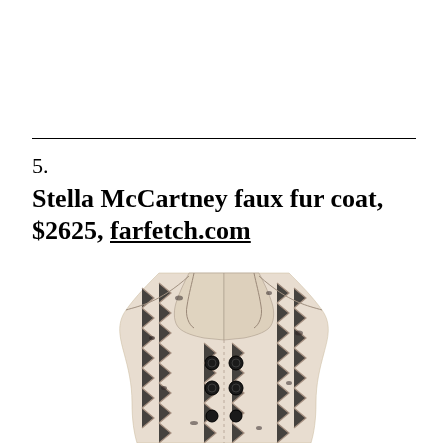5.
Stella McCartney faux fur coat, $2625, farfetch.com
[Figure (photo): Stella McCartney faux fur coat with chevron/herringbone pattern in cream/beige tones with black markings, double-breasted with black buttons, shown from the front cropped view]